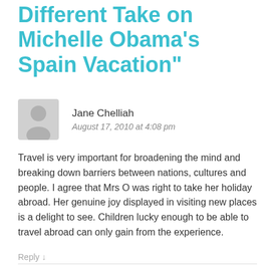Different Take on Michelle Obama's Spain Vacation"
Jane Chelliah
August 17, 2010 at 4:08 pm
Travel is very important for broadening the mind and breaking down barriers between nations, cultures and people. I agree that Mrs O was right to take her holiday abroad. Her genuine joy displayed in visiting new places is a delight to see. Children lucky enough to be able to travel abroad can only gain from the experience.
Reply ↓